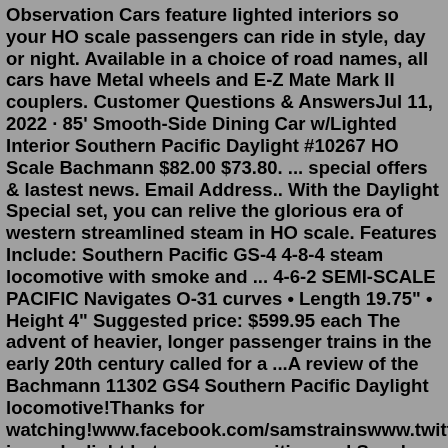Observation Cars feature lighted interiors so your HO scale passengers can ride in style, day or night. Available in a choice of road names, all cars have Metal wheels and E-Z Mate Mark II couplers. Customer Questions & AnswersJul 11, 2022 · 85' Smooth-Side Dining Car w/Lighted Interior Southern Pacific Daylight #10267 HO Scale Bachmann $82.00 $73.80. ... special offers & lastest news. Email Address.. With the Daylight Special set, you can relive the glorious era of western streamlined steam in HO scale. Features Include: Southern Pacific GS-4 4-8-4 steam locomotive with smoke and ... 4-6-2 SEMI-SCALE PACIFIC Navigates O-31 curves • Length 19.75" • Height 4" Suggested price: $599.95 each The advent of heavier, longer passenger trains in the early 20th century called for a ...A review of the Bachmann 11302 GS4 Southern Pacific Daylight locomotive!Thanks for watching!www.facebook.com/samstrainswww.twitter.co is no daylight between my position and Speaker-designate John Boehner on earmarks. Period. ... By